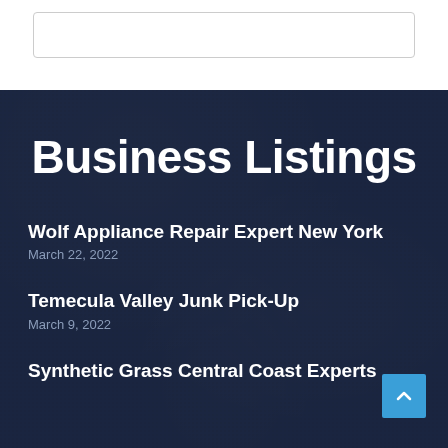[Figure (screenshot): White top section with a search box outline]
Business Listings
Wolf Appliance Repair Expert New York
March 22, 2022
Temecula Valley Junk Pick-Up
March 9, 2022
Synthetic Grass Central Coast Experts